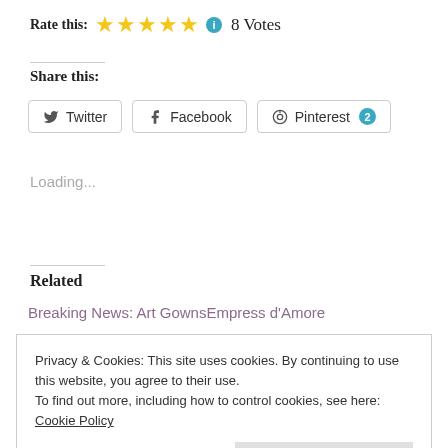Rate this: ★★★★★ ℹ 8 Votes
Share this:
Twitter | Facebook | Pinterest 2
Loading...
Related
Breaking News: Art Gowns
Empress d'Amore
Privacy & Cookies: This site uses cookies. By continuing to use this website, you agree to their use.
To find out more, including how to control cookies, see here: Cookie Policy
Close and accept